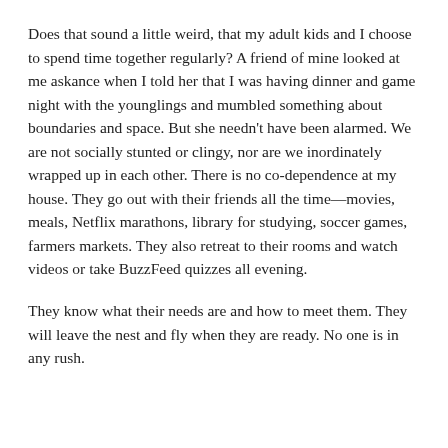Does that sound a little weird, that my adult kids and I choose to spend time together regularly? A friend of mine looked at me askance when I told her that I was having dinner and game night with the younglings and mumbled something about boundaries and space. But she needn't have been alarmed. We are not socially stunted or clingy, nor are we inordinately wrapped up in each other. There is no co-dependence at my house. They go out with their friends all the time—movies, meals, Netflix marathons, library for studying, soccer games, farmers markets. They also retreat to their rooms and watch videos or take BuzzFeed quizzes all evening.
They know what their needs are and how to meet them. They will leave the nest and fly when they are ready. No one is in any rush.